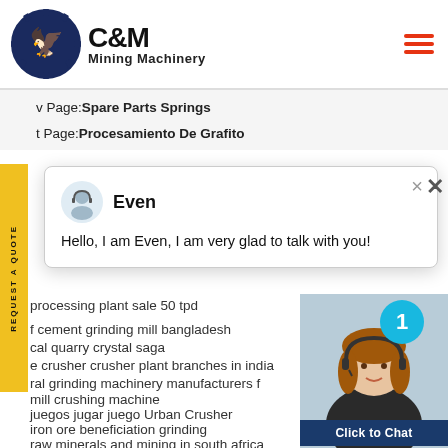[Figure (logo): C&M Mining Machinery logo with eagle gear icon]
v Page:Spare Parts Springs
t Page:Procesamiento De Grafito
[Figure (screenshot): Chat popup with agent 'Even' saying: Hello, I am Even, I am very glad to talk with you!]
processing plant sale 50 tpd
f cement grinding mill bangladesh
cal quarry crystal saga
e crusher crusher plant branches in india
ral grinding machinery manufacturers f
mill crushing machine
juegos jugar juego Urban Crusher
iron ore beneficiation grinding
raw minerals and mining in south africa
gold mining jaw crusher price
manufacturers of stone crushers machines i